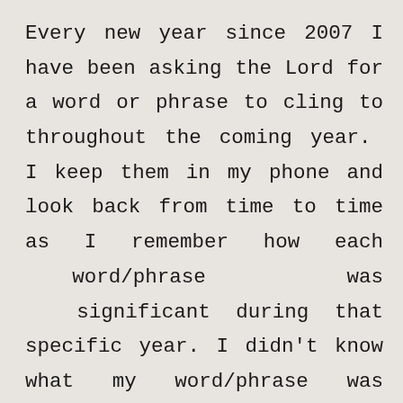Every new year since 2007 I have been asking the Lord for a word or phrase to cling to throughout the coming year. I keep them in my phone and look back from time to time as I remember how each word/phrase was significant during that specific year. I didn't know what my word/phrase was for 2020 until about January 9th. I was at the gym working out and praying as I often do, when I felt Him whisper to me, “I